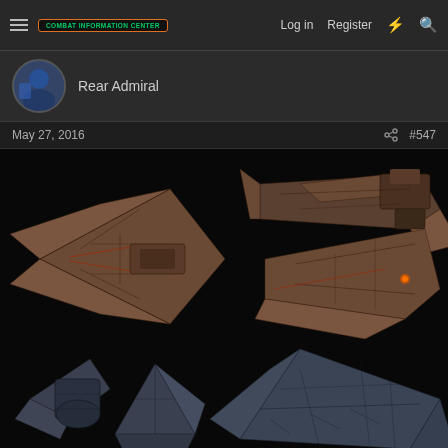COMBAT INFORMATION CENTER | Log in | Register
Rear Admiral
May 27, 2016  #547
[Figure (photo): Six 3D rendered science fiction starships shown from multiple angles against a black background. The ships have a dark brown/rust color scheme with geometric paneling and angular triangular wing designs. Two larger cruiser-type vessels shown in top views in the upper portion, and four smaller fighter/frigate-type vessels shown in the lower portion.]